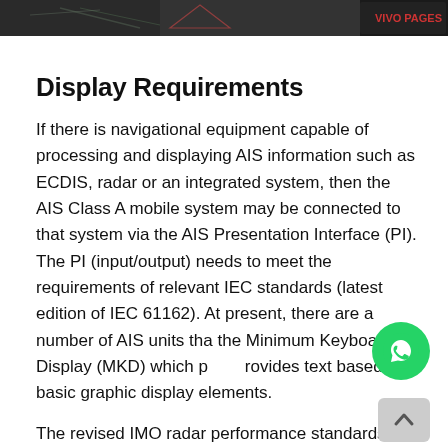[Figure (screenshot): Top image bar showing a navigational chart or map screenshot with dark background, partially visible]
Display Requirements
If there is navigational equipment capable of processing and displaying AIS information such as ECDIS, radar or an integrated system, then the AIS Class A mobile system may be connected to that system via the AIS Presentation Interface (PI). The PI (input/output) needs to meet the requirements of relevant IEC standards (latest edition of IEC 61162). At present, there are a number of AIS units that the Minimum Keyboard Display (MKD) which provides text based or basic graphic display elements.
The revised IMO radar performance standards (IMO Resolution MSC.192(79) 2004), states that all new